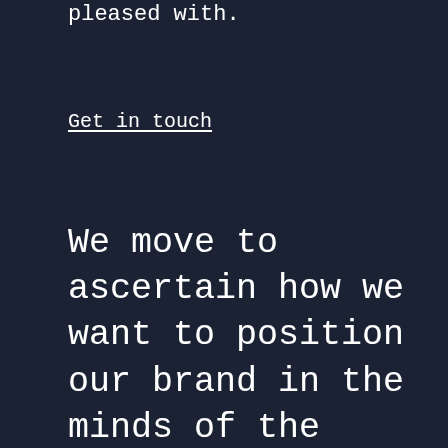pleased with.
Get in touch
We move to ascertain how we want to position our brand in the minds of the final consumer as opposed to the competition in the market. Once the positioning is finalized, it's not only for external perception purposes but also for the brand